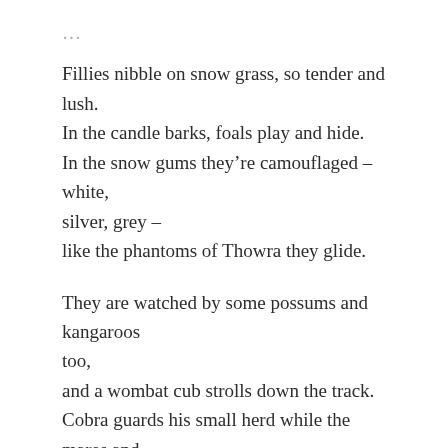Fillies nibble on snow grass, so tender and lush.
In the candle barks, foals play and hide.
In the snow gums they’re camouflaged – white,
silver, grey –
like the phantoms of Thowra they glide.
They are watched by some possums and kangaroos too,
and a wombat cub strolls down the track.
Cobra guards his small herd while the mares and foals sip
a cool drink from the sweet Crackenback.
But the peaceful day’s dreaming is shattered by